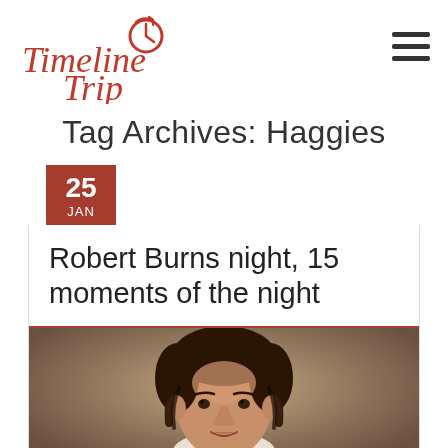[Figure (logo): Timeline Trip logo with clock icon and red handwritten-style text]
Tag Archives: Haggies
Robert Burns night, 15 moments of the night
[Figure (photo): Portrait painting of Robert Burns, showing a young man with dark curly hair against a muted background]